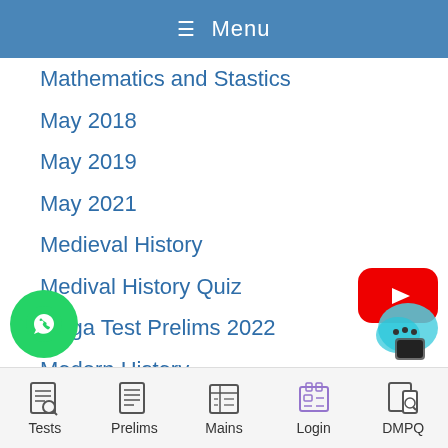☰ Menu
Mathematics and Stastics
May 2018
May 2019
May 2021
Medieval History
Medival History Quiz
Mega Test Prelims 2022
Modern History
Modern History Quiz
Notices
Nov 2017
Nov 2018
Tests  Prelims  Mains  Login  DMPQ